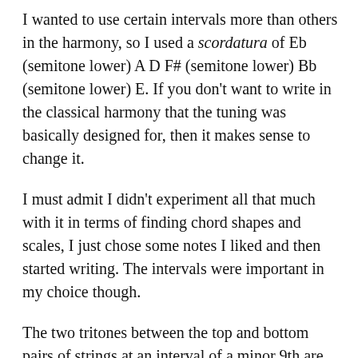I wanted to use certain intervals more than others in the harmony, so I used a scordatura of Eb (semitone lower) A D F# (semitone lower) Bb (semitone lower) E. If you don't want to write in the classical harmony that the tuning was basically designed for, then it makes sense to change it.
I must admit I didn't experiment all that much with it in terms of finding chord shapes and scales, I just chose some notes I liked and then started writing. The intervals were important in my choice though.
The two tritones between the top and bottom pairs of strings at an interval of a minor 9th are quite characteristic here, with the D a major 7th above the lowest note.
I like the mood the open strings have just by themselves. The three bass strings also sound pretty fat